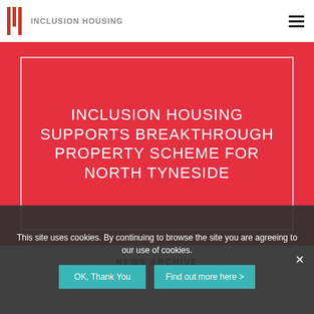INCLUSION HOUSING
INCLUSION HOUSING SUPPORTS BREAKTHROUGH PROPERTY SCHEME FOR NORTH TYNESIDE
NEWS ARCHIVE
This site uses cookies. By continuing to browse the site you are agreeing to our use of cookies.